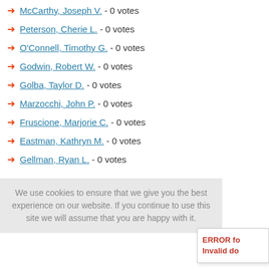McCarthy, Joseph V. - 0 votes
Peterson, Cherie L. - 0 votes
O'Connell, Timothy G. - 0 votes
Godwin, Robert W. - 0 votes
Golba, Taylor D. - 0 votes
Marzocchi, John P. - 0 votes
Fruscione, Marjorie C. - 0 votes
Eastman, Kathryn M. - 0 votes
Gellman, Ryan L. - 0 votes
We use cookies to ensure that we give you the best experience on our website. If you continue to use this site we will assume that you are happy with it.
ERROR fo Invalid do